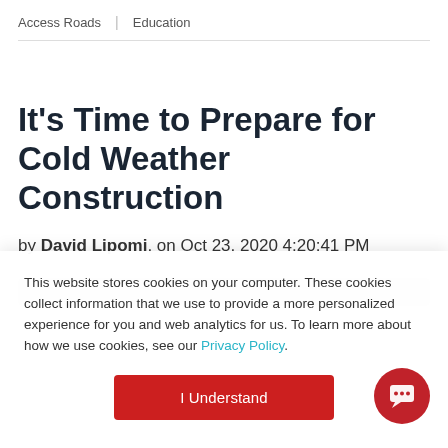Access Roads | Education
It's Time to Prepare for Cold Weather Construction
by David Lipomi, on Oct 23, 2020 4:20:41 PM
This website stores cookies on your computer. These cookies collect information that we use to provide a more personalized experience for you and web analytics for us. To learn more about how we use cookies, see our Privacy Policy.
I Understand